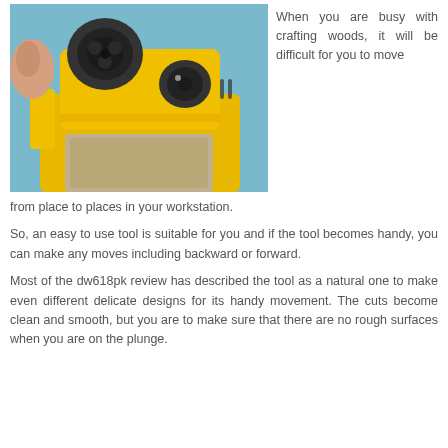[Figure (photo): Close-up photo of a yellow DeWalt plunge router tool against a blue background, showing the top attachment with circular connector ports and the yellow router body.]
When you are busy with crafting woods, it will be difficult for you to move from place to places in your workstation.
So, an easy to use tool is suitable for you and if the tool becomes handy, you can make any moves including backward or forward.
Most of the dw618pk review has described the tool as a natural one to make even different delicate designs for its handy movement. The cuts become clean and smooth, but you are to make sure that there are no rough surfaces when you are on the plunge.